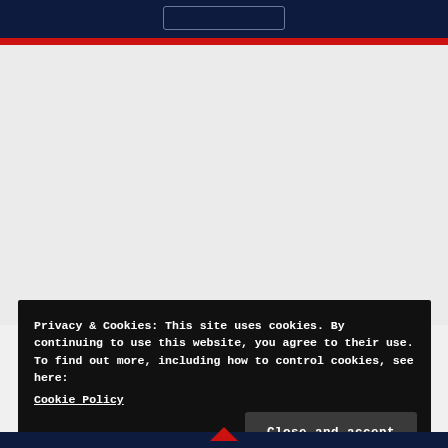Privacy & Cookies: This site uses cookies. By continuing to use this website, you agree to their use.
To find out more, including how to control cookies, see here:
Cookie Policy
Close and accept